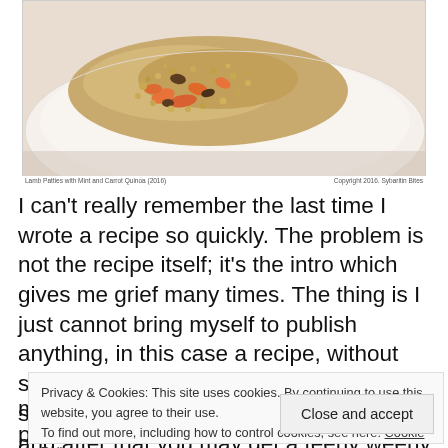[Figure (photo): Food photo showing a grain dish (quinoa/bulgur) with carrots and vegetables served on a white plate, photographed from above at an angle.]
Lamb Patties with Mint and Carrot Quinoa (2016)   Copyright 2016. Sybaritin Bites
I can't really remember the last time I wrote a recipe so quickly. The problem is not the recipe itself; it's the intro which gives me grief many times. The thing is I just cannot bring myself to publish anything, in this case a recipe, without saying something about it. It does happen sporadically – I just start to ramble on, and after that you may get a teeny weeny paragraph at the end. That's called writer's block. Oh, those dreaded words...a creative slowdown, the loss of a deadline or t m p
Privacy & Cookies: This site uses cookies. By continuing to use this website, you agree to their use.
To find out more, including how to control cookies, see here: Cookie Policy
Close and accept